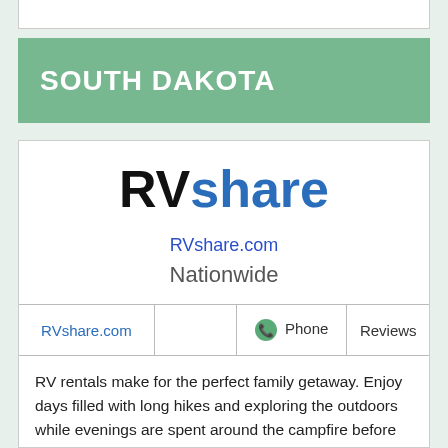SOUTH DAKOTA
[Figure (logo): RVshare logo with black 'RV' and blue 'share' text]
RVshare.com
Nationwide
| RVshare.com |  | Phone | Reviews |
| --- | --- | --- | --- |
|  |
RV rentals make for the perfect family getaway. Enjoy days filled with long hikes and exploring the outdoors while evenings are spent around the campfire before returning to a cozy bed for some R&R. RVs let you and your family travel comfortably, and park up close to your favorite places. Whether you want to visit a national park, a certain attraction, or just enjoy time spent on the road making stops along the way, an RV from RVshare is the perfect option for your next